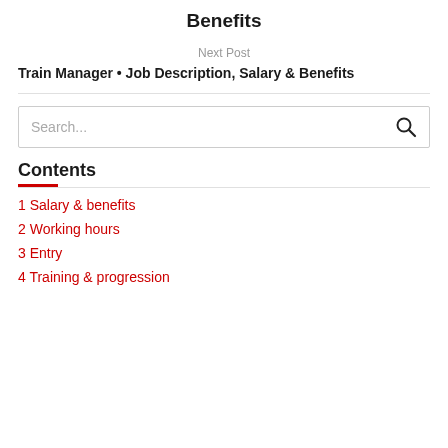Benefits
Next Post
Train Manager • Job Description, Salary & Benefits
Contents
1 Salary & benefits
2 Working hours
3 Entry
4 Training & progression